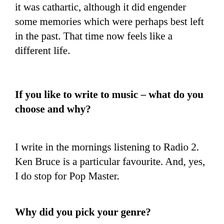it was cathartic, although it did engender some memories which were perhaps best left in the past. That time now feels like a different life.
If you like to write to music – what do you choose and why?
I write in the mornings listening to Radio 2. Ken Bruce is a particular favourite. And, yes, I do stop for Pop Master.
Why did you pick your genre?